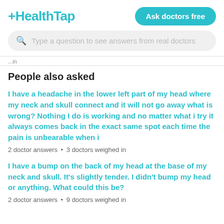+HealthTap
Ask doctors free
Type a question to see answers from real doctors
...in
People also asked
I have a headache in the lower left part of my head where my neck and skull connect and it will not go away what is wrong? Nothing I do is working and no matter what i try it always comes back in the exact same spot each time the pain is unbearable when i
2 doctor answers • 3 doctors weighed in
I have a bump on the back of my head at the base of my neck and skull. It's slightly tender. I didn't bump my head or anything. What could this be?
2 doctor answers • 9 doctors weighed in